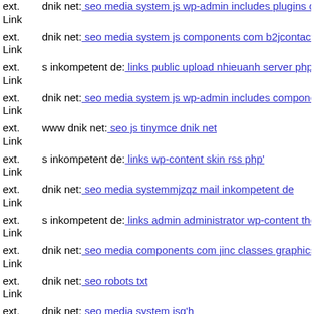ext. Link dnik net: seo media system js wp-admin includes plugins conte…
ext. Link dnik net: seo media system js components com b2jcontact com…
ext. Link s inkompetent de: links public upload nhieuanh server php inde…
ext. Link dnik net: seo media system js wp-admin includes components v…
ext. Link www dnik net: seo js tinymce dnik net
ext. Link s inkompetent de: links wp-content skin rss php'
ext. Link dnik net: seo media systemmjzqz mail inkompetent de
ext. Link s inkompetent de: links admin administrator wp-content themes…
ext. Link dnik net: seo media components com jinc classes graphics tmp-…
ext. Link dnik net: seo robots txt
ext. Link dnik net: seo media system jsg'h
ext. Link www dnik net: seo media system js sites default files images st…